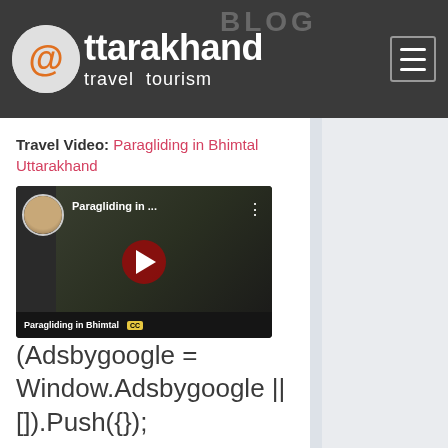BLOG | @ttarakhand travel tourism
Travel Video: Paragliding in Bhimtal Uttarakhand
[Figure (screenshot): YouTube video thumbnail showing 'Paragliding in ...' with a play button, avatar of two people, and text 'Paragliding in Bhimtal' at the bottom]
(Adsbygoogle = Window.Adsbygoogle || []).Push({});